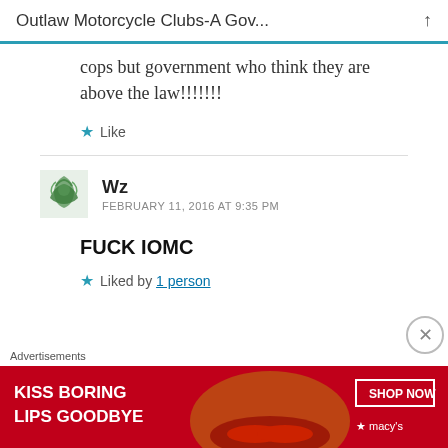Outlaw Motorcycle Clubs-A Gov...
cops but government who think they are above the law!!!!!!!
★ Like
Wz  FEBRUARY 11, 2016 AT 9:35 PM
FUCK IOMC
★ Liked by 1 person
Advertisements
[Figure (photo): Macy's advertisement banner: 'KISS BORING LIPS GOODBYE' with SHOP NOW button and Macy's logo on red background with woman's face]